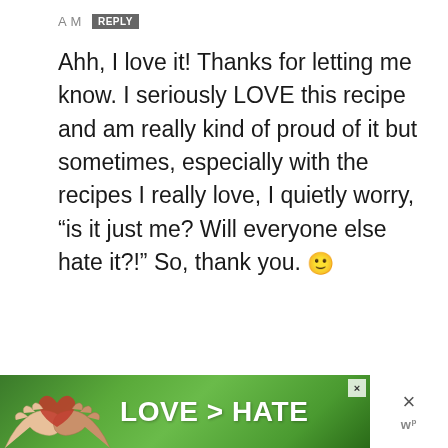AM  REPLY
Ahh, I love it! Thanks for letting me know. I seriously LOVE this recipe and am really kind of proud of it but sometimes, especially with the recipes I really love, I quietly worry, “is it just me? Will everyone else hate it?!” So, thank you. 🙂
[Figure (infographic): Advertisement banner at bottom of page showing hands forming a heart shape against a green background with text LOVE > HATE in white bold letters, with a close X button and a logo on the right side]